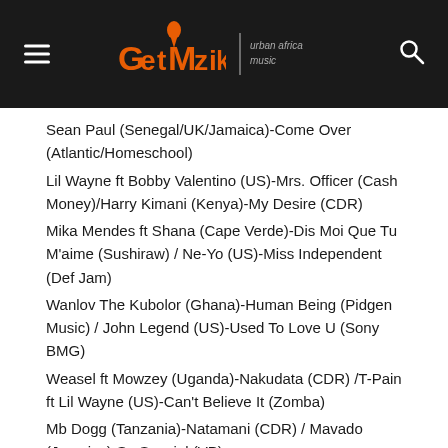Get Mziki | Urban Africa Music
Sean Paul (Senegal/UK/Jamaica)-Come Over (Atlantic/Homeschool)
Lil Wayne ft Bobby Valentino (US)-Mrs. Officer (Cash Money)/Harry Kimani (Kenya)-My Desire (CDR)
Mika Mendes ft Shana (Cape Verde)-Dis Moi Que Tu M'aime (Sushiraw) / Ne-Yo (US)-Miss Independent (Def Jam)
Wanlov The Kubolor (Ghana)-Human Being (Pidgen Music) / John Legend (US)-Used To Love U (Sony BMG)
Weasel ft Mowzey (Uganda)-Nakudata (CDR) /T-Pain ft Lil Wayne (US)-Can't Believe It (Zomba)
Mb Dogg (Tanzania)-Natamani (CDR) / Mavado (Jamaica)-So Special (VP)
Fnaire (Morocco)-Unknown (CDR)
D'Banj ft Special Ed (Nigeria)-Fall In Love (Mo Hits)